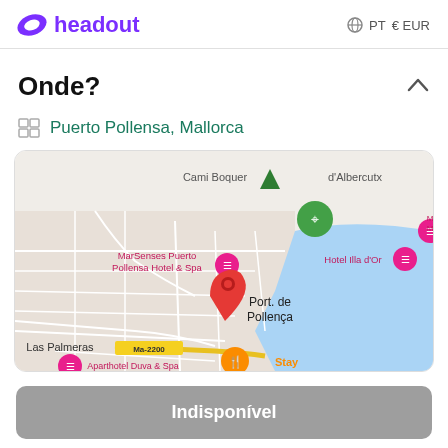headout  PT  €EUR
Onde?
Puerto Pollensa, Mallorca
[Figure (map): Google Maps view of Puerto Pollensa (Port de Pollença), Mallorca, showing map pins for MarSenses Puerto Pollensa Hotel & Spa (pink), Hotel Illa d'Or (pink), Aparthotel Duva & Spa (pink), a green navigation pin, a red location pin at center, an orange restaurant pin labeled Stay, and road label Ma-2200. Text labels include Cami Boquer, d'Albercutx, Las Palmeras, Port de Pollença.]
Indisponível